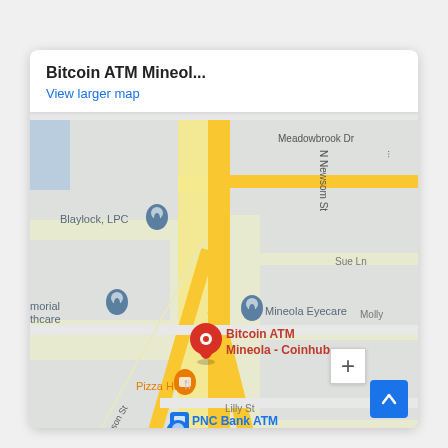[Figure (map): Google Maps screenshot showing Bitcoin ATM Mineola - Coinhub location. Map shows street intersections with landmarks including Blaylock LPC, Mineola Eyecare, Pizza Hut, PNC Bank ATM, b Smith Auto Sales, Dollar Tree. Streets include Meadowbrook Dr, N Newsom St, Sue Ln, Lilly St. A red map pin marks Bitcoin ATM Mineola - Coinhub. Header shows 'Bitcoin ATM Mineol...' and 'View larger map' link in blue.]